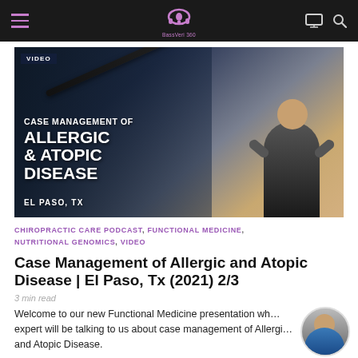BassVeri 360 - navigation bar
[Figure (photo): Video thumbnail showing 'Case Management of Allergic & Atopic Disease' medical presentation from El Paso, TX, with a speaker figure and close-up of a medical injection/procedure on skin in the background. VIDEO badge in top left.]
CHIROPRACTIC CARE PODCAST, FUNCTIONAL MEDICINE, NUTRITIONAL GENOMICS, VIDEO
Case Management of Allergic and Atopic Disease | El Paso, Tx (2021) 2/3
3 min read
Welcome to our new Functional Medicine presentation wh expert will be talking to us about case management of Allergi and Atopic Disease.